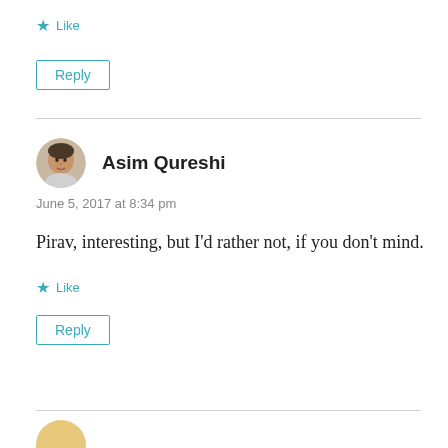★ Like
Reply
Asim Qureshi
June 5, 2017 at 8:34 pm
Pirav, interesting, but I'd rather not, if you don't mind.
★ Like
Reply